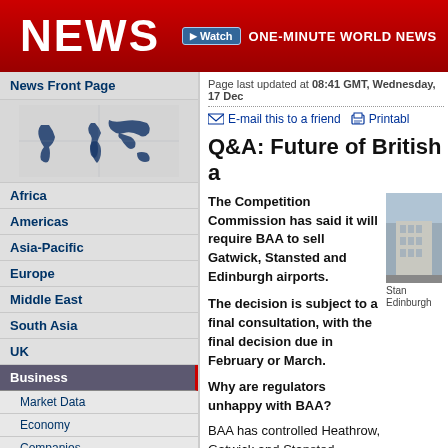NEWS | Watch ONE-MINUTE WORLD NEWS
News Front Page
[Figure (illustration): World map graphic in blue]
Africa
Americas
Asia-Pacific
Europe
Middle East
South Asia
UK
Business
Market Data
Economy
Companies
Health
Science & Environment
Technology
Page last updated at 08:41 GMT, Wednesday, 17 Dec
E-mail this to a friend   Printabl
Q&A: Future of British a
The Competition Commission has said it will require BAA to sell Gatwick, Stansted and Edinburgh airports.
The decision is subject to a final consultation, with the final decision due in February or March.
Why are regulators unhappy with BAA?
[Figure (photo): Airport building photo, partial view]
Stan Edinburgh
BAA has controlled Heathrow, Gatwick and Stansted airports for more than 40 years a Glasgow airports since the early 1970s.
The Competition Commission is concerned...